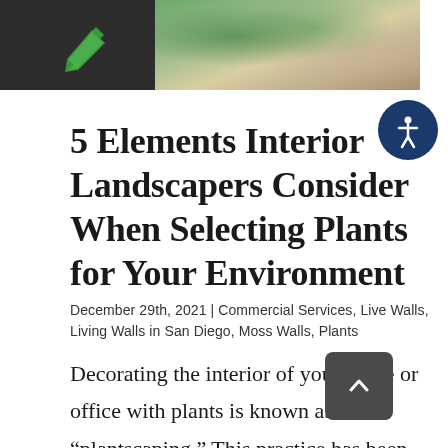[Figure (photo): Header area with dark logo block containing a green pen/quill icon on left, and a photo of interior space with plants and natural light on right]
[Figure (logo): Accessibility icon button — circular dark blue button with white accessibility figure symbol, positioned top right]
5 Elements Interior Landscapers Consider When Selecting Plants for Your Environment
December 29th, 2021 | Commercial Services, Live Walls, Living Walls in San Diego, Moss Walls, Plants
Decorating the interior of your home or office with plants is known as “plantscaping.” This practice has been growing in popularity for the last few years and is becoming a central element of any interior design plan. However, one can't just get any random plant and expect
[Figure (other): Scroll-to-top button — dark rounded square with upward chevron arrow]